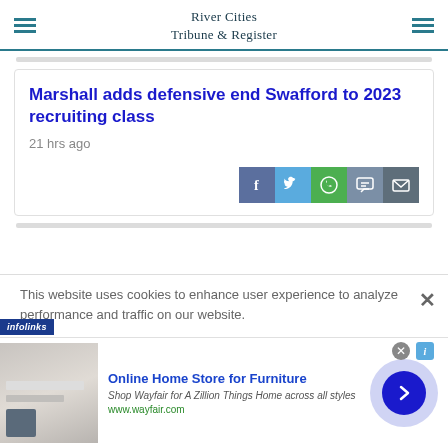River Cities Tribune & Register
Marshall adds defensive end Swafford to 2023 recruiting class
21 hrs ago
[Figure (other): Social share buttons: Facebook, Twitter, WhatsApp, Message, Email]
This website uses cookies to enhance user experience to analyze performance and traffic on our website.
[Figure (other): Advertisement: Online Home Store for Furniture - Wayfair. Shop Wayfair for A Zillion Things Home across all styles. www.wayfair.com]